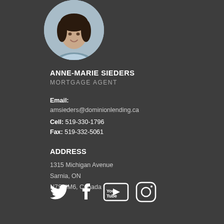[Figure (photo): Circular headshot photo of Anne-Marie Sieders, a woman with dark hair wearing a light blue shirt, positioned against a stone background]
ANNE-MARIE SIEDERS
MORTGAGE AGENT
Email: amsieders@dominionlending.ca
Cell: 519-330-1796
Fax: 519-332-5061
ADDRESS
1315 Michigan Avenue
Sarnia, ON
N7S 4M6, Canada
[Figure (illustration): Social media icons: Twitter bird, Facebook f, YouTube play button with 'You Tube' text, and Instagram camera icon, all in white]